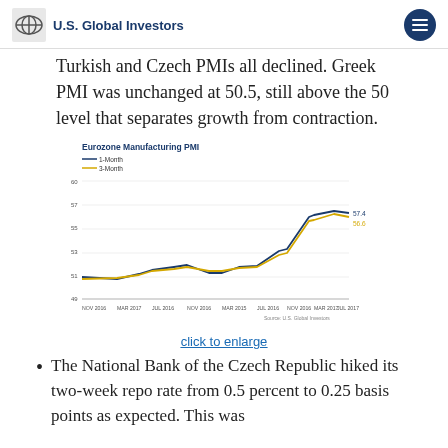U.S. Global Investors
Turkish and Czech PMIs all declined. Greek PMI was unchanged at 50.5, still above the 50 level that separates growth from contraction.
[Figure (line-chart): Line chart showing Eurozone Manufacturing PMI over time from Nov 2016 to Jul 2017, with two series (1-Month and 3-Month). Both lines trend upward from around 51-52 to a peak near 57.4, with the 1-Month ending at 57.4 and 3-Month at 56.6.]
click to enlarge
The National Bank of the Czech Republic hiked its two-week repo rate from 0.5 percent to 0.25 basis points as expected. This was